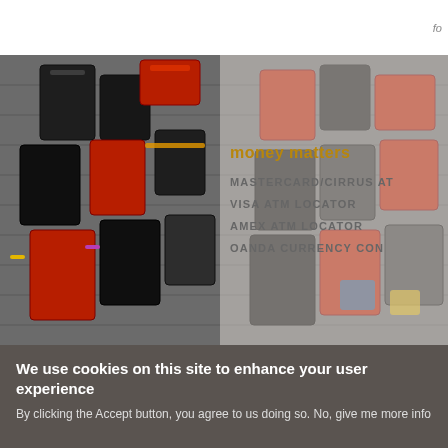fo
[Figure (photo): Aerial view of many suitcases and luggage bags arranged on a cobblestone surface, mostly black and red bags]
money matters
MASTERCARD/CIRRUS AT
VISA ATM LOCATOR
AMEX ATM LOCATOR
OANDA CURRENCY CON
We use cookies on this site to enhance your user experience
By clicking the Accept button, you agree to us doing so. No, give me more info